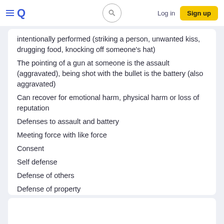Quizlet navigation bar with Log in and Sign up
intentionally performed (striking a person, unwanted kiss, drugging food, knocking off someone's hat)
The pointing of a gun at someone is the assault (aggravated), being shot with the bullet is the battery (also aggravated)
Can recover for emotional harm, physical harm or loss of reputation
Defenses to assault and battery
Meeting force with like force
Consent
Self defense
Defense of others
Defense of property